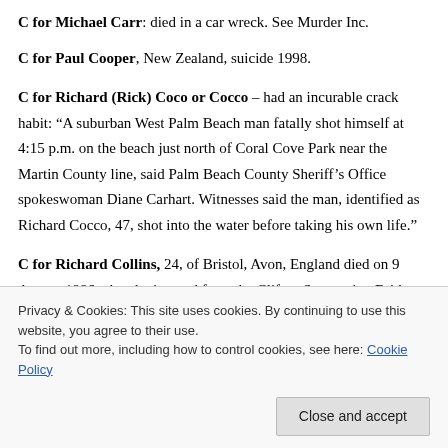C for Michael Carr: died in a car wreck. See Murder Inc.
C for Paul Cooper, New Zealand, suicide 1998.
C for Richard (Rick) Coco or Cocco – had an incurable crack habit: "A suburban West Palm Beach man fatally shot himself at 4:15 p.m. on the beach just north of Coral Cove Park near the Martin County line, said Palm Beach County Sheriff's Office spokeswoman Diane Carhart. Witnesses said the man, identified as Richard Cocco, 47, shot into the water before taking his own life."
C for Richard Collins, 24, of Bristol, Avon, England died on 9 August 1996 when he jumped from the Clifton Suspension Bridge near Bristol. He was...
Privacy & Cookies: This site uses cookies. By continuing to use this website, you agree to their use. To find out more, including how to control cookies, see here: Cookie Policy